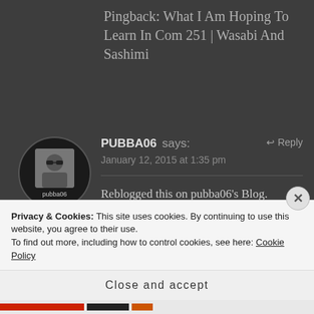Pingback: What I Am Hoping To Learn In Com 251 | Wasabi And Sashimi
PUBBA06 says:
January 12, 2015 at 1:35 pm
Reblogged this on pubba06's Blog.
Liked by 1 person
Privacy & Cookies: This site uses cookies. By continuing to use this website, you agree to their use.
To find out more, including how to control cookies, see here: Cookie Policy
Close and accept